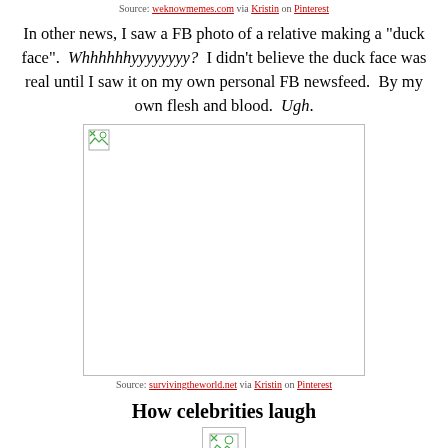Source: weknowmemes.com via Kristin on Pinterest
In other news, I saw a FB photo of a relative making a "duck face".  Whhhhhhyyyyyyyy?  I didn't believe the duck face was real until I saw it on my own personal FB newsfeed.  By my own flesh and blood.  Ugh.
[Figure (photo): Broken image placeholder (large rectangle with border)]
Source: survivingtheworld.net via Kristin on Pinterest
How celebrities laugh
[Figure (photo): Broken image placeholder (small)]
Source: weknowmemes.com via Kristin on Pinterest